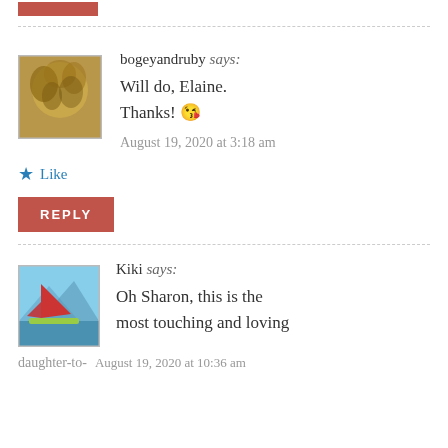[Figure (other): Pink/red reply button partially visible at top]
bogeyandruby says:
Will do, Elaine.
Thanks! 😘
August 19, 2020 at 3:18 am
Like
REPLY
Kiki says:
Oh Sharon, this is the most touching and loving
daughter-to-
August 19, 2020 at 10:36 am